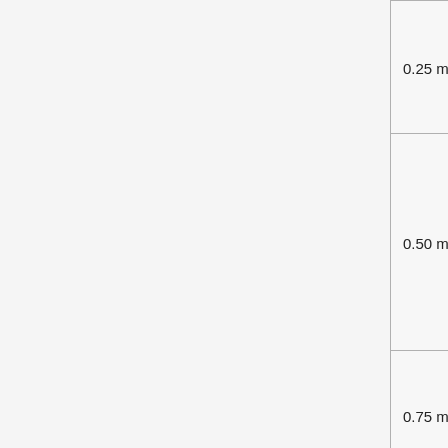| 0.25 mm² | 0.50 mm | AWG23 / AWG24 | 65 mΩ/m |
| 0.50 mm² | 0.80 mm | AWG20 / AWG21 | 32 mΩ/m |
| 0.75 mm² | 1.0 mm | AWG18 / AWG19 | 20 mΩ/m |
| 1.5 mm² | 1.3 mm | AWG16 | 13 mΩ/m |